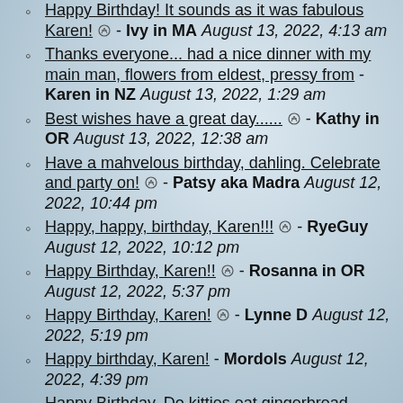Happy Birthday! It sounds as it was fabulous Karen! ⊘ - Ivy in MA August 13, 2022, 4:13 am
Thanks everyone... had a nice dinner with my main man, flowers from eldest, pressy from - Karen in NZ August 13, 2022, 1:29 am
Best wishes have a great day...... ⊘ - Kathy in OR August 13, 2022, 12:38 am
Have a mahvelous birthday, dahling. Celebrate and party on! ⊘ - Patsy aka Madra August 12, 2022, 10:44 pm
Happy, happy, birthday, Karen!!! ⊘ - RyeGuy August 12, 2022, 10:12 pm
Happy Birthday, Karen!! ⊘ - Rosanna in OR August 12, 2022, 5:37 pm
Happy Birthday, Karen! ⊘ - Lynne D August 12, 2022, 5:19 pm
Happy birthday, Karen! - Mordols August 12, 2022, 4:39 pm
Happy Birthday. Do kitties eat gingerbread